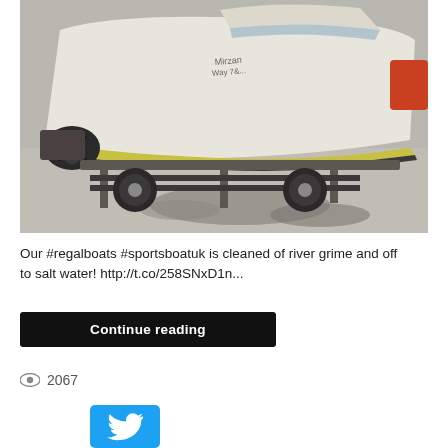[Figure (photo): A white motorboat on a trailer photographed from the rear, showing the hull, propeller, and dual-axle trailer on a wet concrete surface. A yellow stripe runs along the hull bottom.]
Our #regalboats #sportsboatuk is cleaned of river grime and off to salt water! http://t.co/258SNxD1n...
Continue reading
2067
[Figure (logo): Twitter bird logo icon on a blue background button]